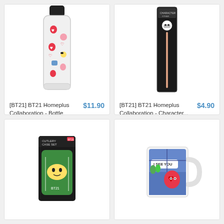[Figure (photo): BT21 Homeplus Collaboration glass bottle with BT21 character stickers pattern, black lid]
[BT21] BT21 Homeplus Collaboration - Bottle
$11.90
View
[Figure (photo): BT21 Homeplus Collaboration character straw in black packaging]
[BT21] BT21 Homeplus Collaboration - Character...
$4.90
View
[Figure (photo): BT21 Cutlery Case Set in black packaging with green and yellow character design]
[Figure (photo): White mug with BT21 character comic-style design showing 'I SEE YOU' text]